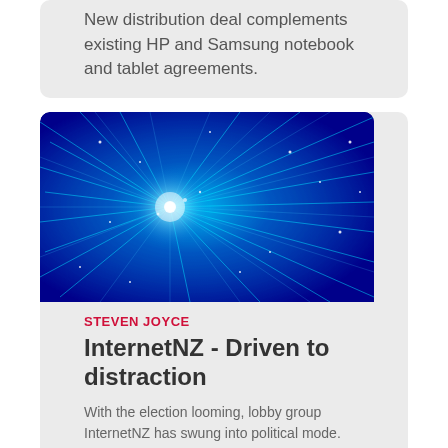New distribution deal complements existing HP and Samsung notebook and tablet agreements.
[Figure (photo): Fiber optic cables exploding outward with glowing blue and white light strands on a dark blue background]
STEVEN JOYCE
InternetNZ - Driven to distraction
With the election looming, lobby group InternetNZ has swung into political mode.